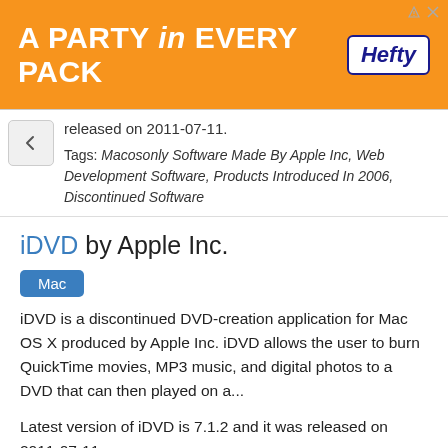[Figure (other): Orange advertisement banner reading 'A PARTY in EVERY PACK' with Hefty logo on the right]
released on 2011-07-11.
Tags: Macosonly Software Made By Apple Inc, Web Development Software, Products Introduced In 2006, Discontinued Software
iDVD by Apple Inc.
Mac
iDVD is a discontinued DVD-creation application for Mac OS X produced by Apple Inc. iDVD allows the user to burn QuickTime movies, MP3 music, and digital photos to a DVD that can then played on a...
Latest version of iDVD is 7.1.2 and it was released on 2011-07-11.
Tags: Macosonly Software Made By Apple Inc,